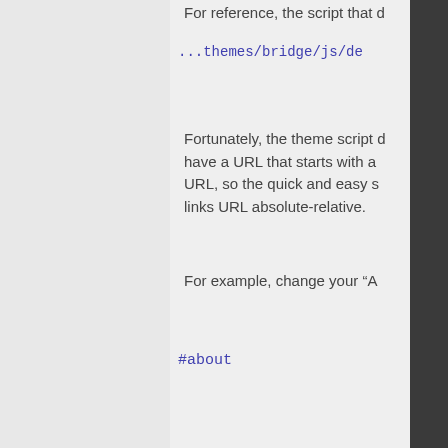For reference, the script that d
...themes/bridge/js/de
Fortunately, the theme script d have a URL that starts with a URL, so the quick and easy s links URL absolute-relative.
For example, change your “A
#about
to:
/#about
and smooth scrolling, offset e
Do the same for the rest of yo
Let me know
Reply